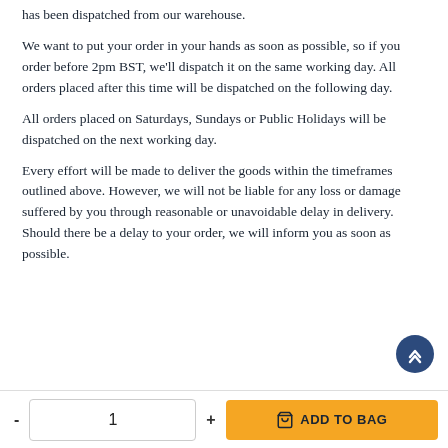has been dispatched from our warehouse.
We want to put your order in your hands as soon as possible, so if you order before 2pm BST, we'll dispatch it on the same working day. All orders placed after this time will be dispatched on the following day.
All orders placed on Saturdays, Sundays or Public Holidays will be dispatched on the next working day.
Every effort will be made to deliver the goods within the timeframes outlined above. However, we will not be liable for any loss or damage suffered by you through reasonable or unavoidable delay in delivery. Should there be a delay to your order, we will inform you as soon as possible.